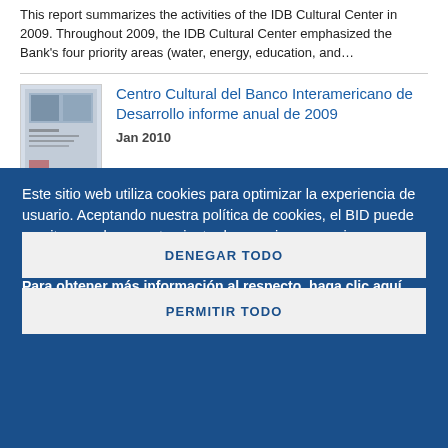This report summarizes the activities of the IDB Cultural Center in 2009. Throughout 2009, the IDB Cultural Center emphasized the Bank's four priority areas (water, energy, education, and...
Centro Cultural del Banco Interamericano de Desarrollo informe anual de 2009
Jan 2010
Este sitio web utiliza cookies para optimizar la experiencia de usuario. Aceptando nuestra política de cookies, el BID puede monitorear el comportamiento de usuario para mejorar sus servicios.
Para obtener más información al respecto, haga clic aquí.
Configuracion Cookie
DENEGAR TODO
PERMITIR TODO